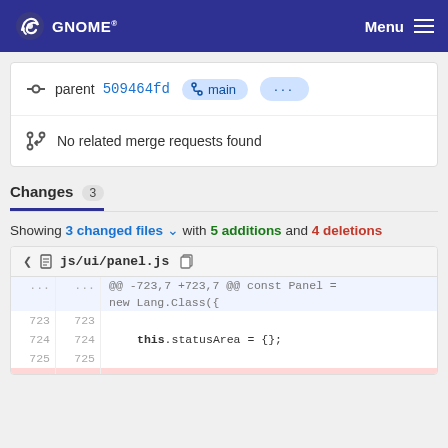GNOME — Menu
parent 509464fd  main  ...
No related merge requests found
Changes 3
Showing 3 changed files with 5 additions and 4 deletions
js/ui/panel.js
| old | new | code |
| --- | --- | --- |
| ... | ... | @@ -723,7 +723,7 @@ const Panel = new Lang.Class({ |
|  |  | new Lang.Class({ |
| 723 | 723 |  |
| 724 | 724 |     this.statusArea = {}; |
| 725 | 725 |  |
|  |  |  |